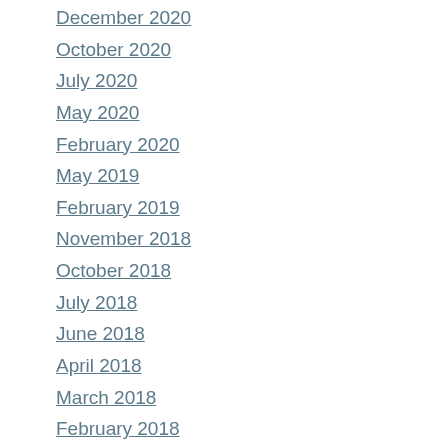December 2020
October 2020
July 2020
May 2020
February 2020
May 2019
February 2019
November 2018
October 2018
July 2018
June 2018
April 2018
March 2018
February 2018
December 2017
November 2017
October 2017
September 2017
August 2017